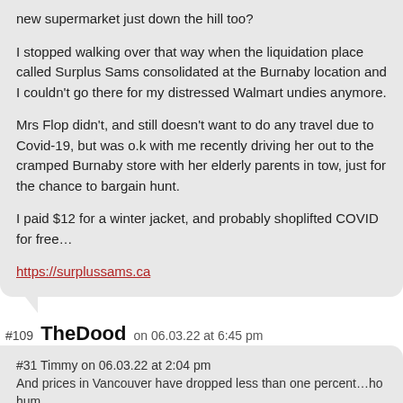new supermarket just down the hill too?
I stopped walking over that way when the liquidation place called Surplus Sams consolidated at the Burnaby location and I couldn't go there for my distressed Walmart undies anymore.
Mrs Flop didn't, and still doesn't want to do any travel due to Covid-19, but was o.k with me recently driving her out to the cramped Burnaby store with her elderly parents in tow, just for the chance to bargain hunt.
I paid $12 for a winter jacket, and probably shoplifted COVID for free…
https://surplussams.ca
#109  TheDood  on 06.03.22 at 6:45 pm
#31 Timmy on 06.03.22 at 2:04 pm
And prices in Vancouver have dropped less than one percent…ho hum…
A comment like this is not surprising really. No measures in the last decade have managed to stop people from buying and selling overpriced